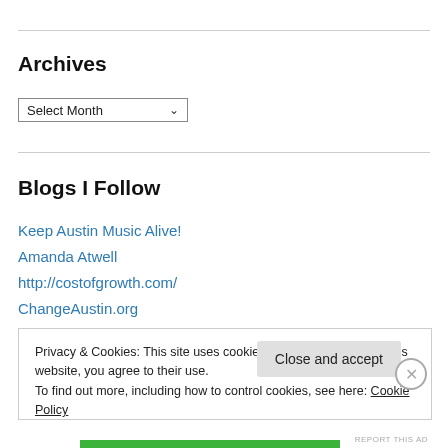Archives
Select Month
Blogs I Follow
Keep Austin Music Alive!
Amanda Atwell
http://costofgrowth.com/
ChangeAustin.org
Privacy & Cookies: This site uses cookies. By continuing to use this website, you agree to their use.
To find out more, including how to control cookies, see here: Cookie Policy
Close and accept